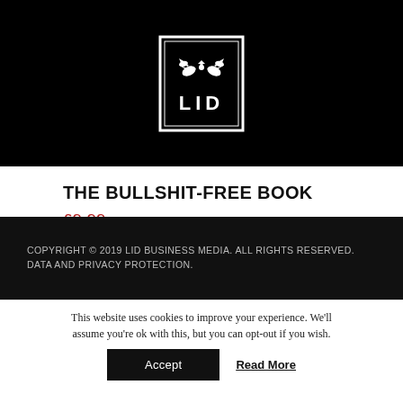[Figure (logo): LID Publishing logo — white decorative crest above letters LID in a white bordered black square]
THE BULLSHIT-FREE BOOK
£9.99
ADD TO BASKET
COPYRIGHT © 2019 LID BUSINESS MEDIA. ALL RIGHTS RESERVED. DATA AND PRIVACY PROTECTION.
This website uses cookies to improve your experience. We'll assume you're ok with this, but you can opt-out if you wish.
Accept   Read More